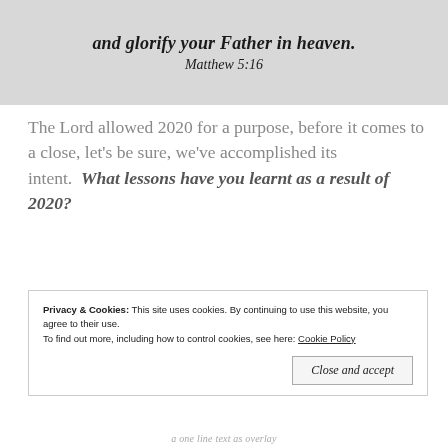[Figure (illustration): Grayscale image with overlaid italic bold text reading 'and glorify your Father in heaven.' and 'Matthew 5:16']
The Lord allowed 2020 for a purpose, before it comes to a close, let's be sure, we've accomplished its intent.  What lessons have you learnt as a result of 2020?
Privacy & Cookies: This site uses cookies. By continuing to use this website, you agree to their use.
To find out more, including how to control cookies, see here: Cookie Policy
Close and accept
a one line text as overlay